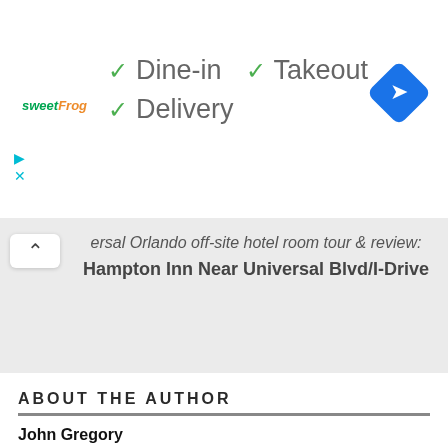[Figure (screenshot): Advertisement banner for sweetFrog with checkmarks for Dine-in, Takeout, and Delivery options, and a blue navigation arrow icon on the right]
✓ Dine-in  ✓ Takeout
✓ Delivery
ersal Orlando off-site hotel room tour & review:
Hampton Inn Near Universal Blvd/I-Drive
ABOUT THE AUTHOR
John Gregory
John has covered sports, politics, government and health care for a variety of news outlets, including the Illinois Radio Network and Rivet News Radio, as well as freelance work for the Florida Radio Network and contributing to the Unofficial Universal Orlando Podcast. He is a graduate of Columbia College Chicago. You can find him in the theme parks every